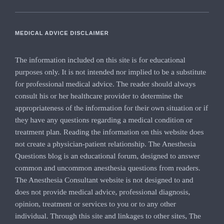MEDICAL ADVICE DISCLAIMER
The information included on this site is for educational purposes only. It is not intended nor implied to be a substitute for professional medical advice. The reader should always consult his or her healthcare provider to determine the appropriateness of the information for their own situation or if they have any questions regarding a medical condition or treatment plan. Reading the information on this website does not create a physician-patient relationship. The Anesthesia Questions blog is an educational forum, designed to answer common and uncommon anesthesia questions from readers. The Anesthesia Consultant website is not designed to and does not provide medical advice, professional diagnosis, opinion, treatment or services to you or to any other individual. Through this site and linkages to other sites, The Anesthesia Consultant provides general information for